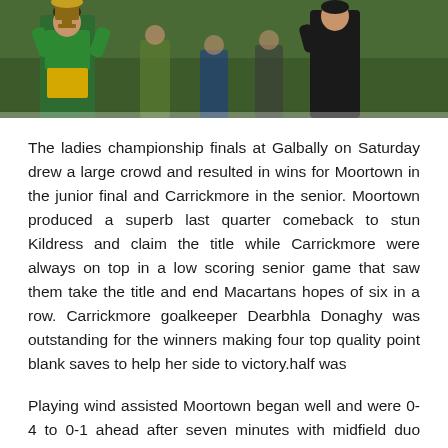[Figure (photo): Two people holding a trophy cup, standing on grass. The person on the left is wearing green and yellow GAA sports kit, the person on the right is wearing dark clothing.]
The ladies championship finals at Galbally on Saturday drew a large crowd and resulted in wins for Moortown in the junior final and Carrickmore in the senior. Moortown produced a superb last quarter comeback to stun Kildress and claim the title while Carrickmore were always on top in a low scoring senior game that saw them take the title and end Macartans hopes of six in a row. Carrickmore goalkeeper Dearbhla Donaghy was outstanding for the winners making four top quality point blank saves to help her side to victory.half was
Playing wind assisted Moortown began well and were 0-4 to 0-1 ahead after seven minutes with midfield duo Chrissie Devlin and Emma Murphy impressing early on. Sarah Devlin, Murphy, Donica Ryan and Rachel Tallon all scored as Moortown looked sharp in the opening exchanges. Kildress however settled to their task with Aoife O'Connor, Chloe Tracey and Eilis Keenan outstanding were 1-3 to 0-5 ahead